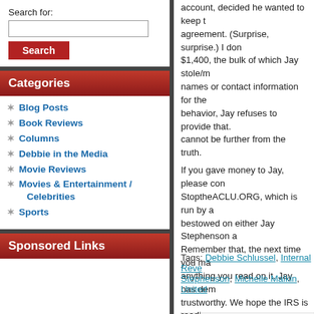Search for:
Categories
Blog Posts
Book Reviews
Columns
Debbie in the Media
Movie Reviews
Movies & Entertainment / Celebrities
Sports
Sponsored Links
account, decided he wanted to keep the agreement. (Surprise, surprise.) I don $1,400, the bulk of which Jay stole/mi names or contact information for the d behavior, Jay refuses to provide that. cannot be further from the truth. If you gave money to Jay, please con StoptheACLU.ORG, which is run by a bestowed on either Jay Stephenson a Remember that, the next time you ma anything you read on it. Jay has deme trustworthy. We hope the IRS is readi As for the intervention, we are proce and this does not change a thing in th
Tags: Debbie Schlussel, Internal Reve Stephenson, Michelle Malkin, United